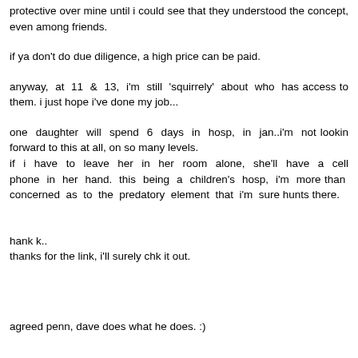protective over mine until i could see that they understood the concept, even among friends.
if ya don't do due diligence, a high price can be paid.
anyway, at 11 & 13, i'm still 'squirrely' about who has access to them. i just hope i've done my job...
one daughter will spend 6 days in hosp, in jan..i'm not lookin forward to this at all, on so many levels.
if i have to leave her in her room alone, she'll have a cell phone in her hand. this being a children's hosp, i'm more than concerned as to the predatory element that i'm sure hunts there.
hank k..
thanks for the link, i'll surely chk it out.
agreed penn, dave does what he does. :)